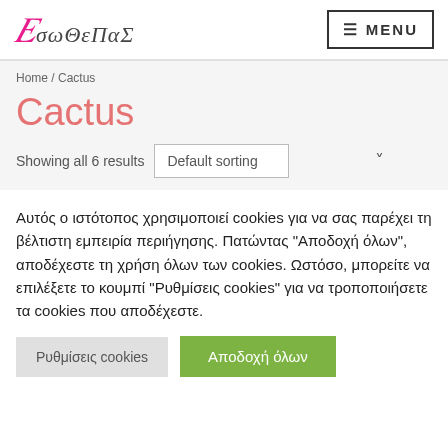ΕσωΘεΠαΣ — MENU
Home / Cactus
Cactus
Showing all 6 results  Default sorting
Αυτός ο ιστότοπος χρησιμοποιεί cookies για να σας παρέχει τη βέλτιστη εμπειρία περιήγησης. Πατώντας "Αποδοχή όλων", αποδέχεστε τη χρήση όλων των cookies. Ωστόσο, μπορείτε να επιλέξετε το κουμπί "Ρυθμίσεις cookies" για να τροποποιήσετε τα cookies που αποδέχεστε.
Ρυθμίσεις cookies  Αποδοχή όλων